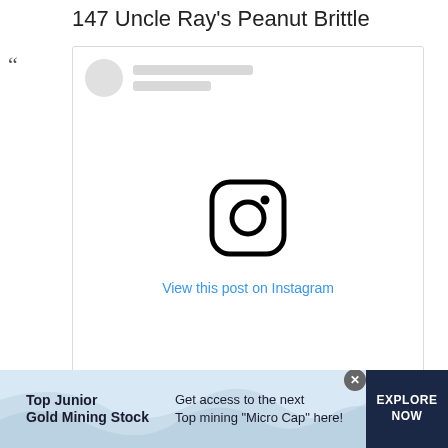147 Uncle Ray's Peanut Brittle
[Figure (screenshot): Embedded Instagram post placeholder showing avatar circle, placeholder lines for username, Instagram logo icon centered, and 'View this post on Instagram' link in blue text.]
[Figure (screenshot): Advertisement banner: 'Top Junior Gold Mining Stock' on left, 'Get access to the next Top mining "Micro Cap" here!' in center, 'EXPLORE NOW' button on right with dark navy background. Close button at top right.]